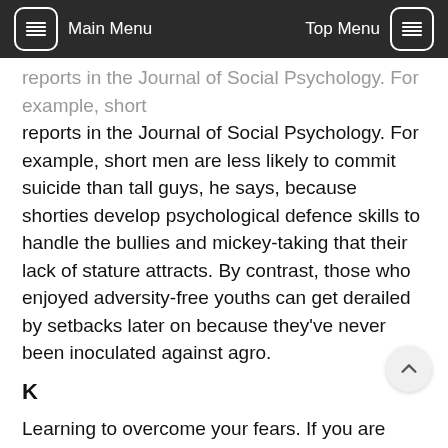Main Menu   Top Menu
reports in the Journal of Social Psychology. For example, short men are less likely to commit suicide than tall guys, he says, because shorties develop psychological defence skills to handle the bullies and mickey-taking that their lack of stature attracts. By contrast, those who enjoyed adversity-free youths can get derailed by setbacks later on because they've never been inoculated against agro.
K
Learning to overcome your fears. If you are handicapped by having had a happy childhood, then practising proactive optimism can help you to become more resilient. Studies of resilient people show that they take more risks; they court failure and learn not to fear it. And despite being thick-ski... resilient types are also more open than average to other people.